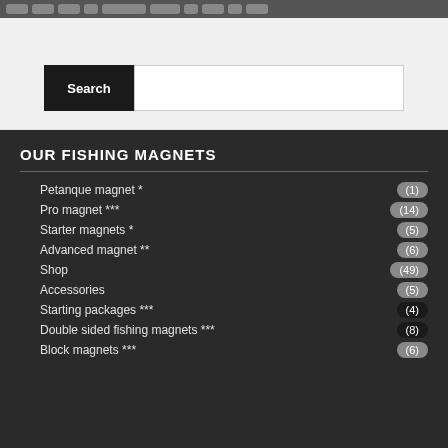[Figure (screenshot): Navigation bar with pills/tabs partially visible at top]
[Figure (screenshot): Search bar with black Search button and white input field]
OUR FISHING MAGNETS
Petanque magnet * (1)
Pro magnet *** (14)
Starter magnets * (5)
Advanced magnet ** (6)
Shop (49)
Accessories (5)
Starting packages *** (4)
Double sided fishing magnets *** (8)
Block magnets *** (6)